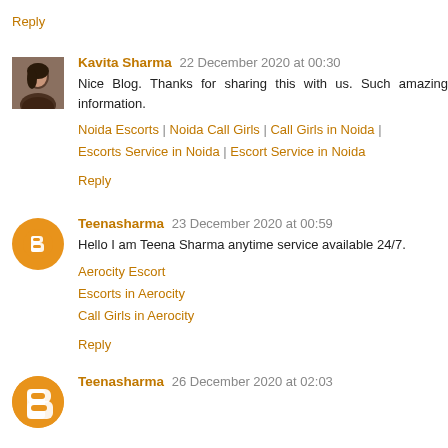Reply
Kavita Sharma  22 December 2020 at 00:30
Nice Blog. Thanks for sharing this with us. Such amazing information.
Noida Escorts | Noida Call Girls | Call Girls in Noida | Escorts Service in Noida | Escort Service in Noida
Reply
Teenasharma  23 December 2020 at 00:59
Hello I am Teena Sharma anytime service available 24/7.
Aerocity Escort
Escorts in Aerocity
Call Girls in Aerocity
Reply
Teenasharma  26 December 2020 at 02:03